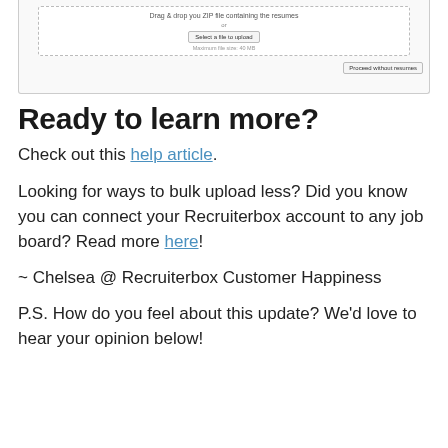[Figure (screenshot): Screenshot of a file upload UI with drag & drop zone, 'Select a file to upload' button, maximum file size note, and 'Proceed without resumes' button]
Ready to learn more?
Check out this help article.
Looking for ways to bulk upload less? Did you know you can connect your Recruiterbox account to any job board? Read more here!
~ Chelsea @ Recruiterbox Customer Happiness
P.S. How do you feel about this update? We'd love to hear your opinion below!